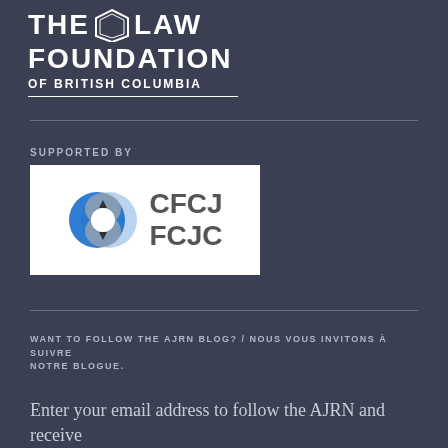[Figure (logo): The Law Foundation of British Columbia logo — white bold text reading THE LAW FOUNDATION OF BRITISH COLUMBIA with a shield emblem]
SUPPORTED BY
[Figure (logo): CFCJ FCJC logo — white background with abstract blue and grey circular icon on left and text CFCJ / FCJC on right]
WANT TO FOLLOW THE AJRN BLOG? / NOUS VOUS INVITONS À SUIVRE NOTRE BLOGUE.
Enter your email address to follow the AJRN and receive